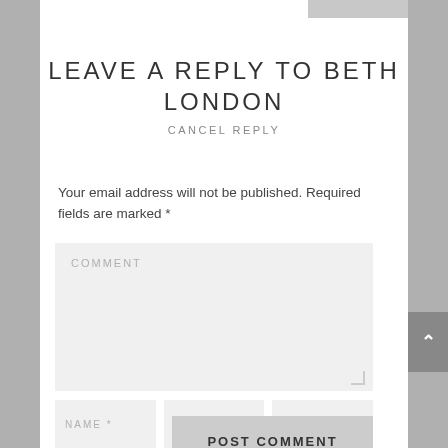LEAVE A REPLY TO BETH LONDON
CANCEL REPLY
Your email address will not be published. Required fields are marked *
[Figure (screenshot): Comment text area input field with placeholder text COMMENT]
[Figure (screenshot): Three input fields: NAME *, EMAIL *, WEBSITE]
[Figure (screenshot): POST COMMENT submit button]